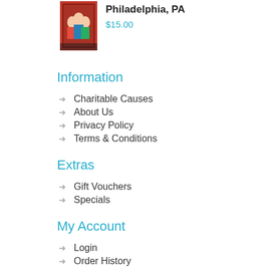[Figure (photo): Book/DVD cover image showing a group photo, partially visible at the top left of the product row]
Philadelphia, PA
$15.00
Information
Charitable Causes
About Us
Privacy Policy
Terms & Conditions
Extras
Gift Vouchers
Specials
My Account
Login
Order History